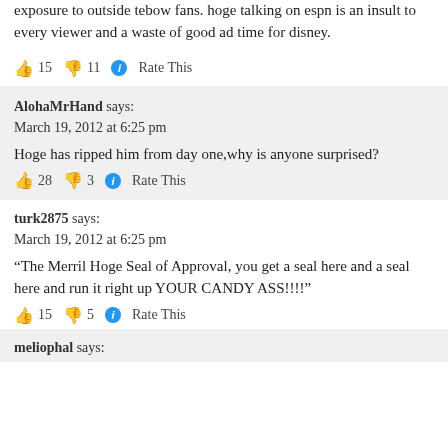exposure to outside tebow fans. hoge talking on espn is an insult to every viewer and a waste of good ad time for disney.
👍 15 👎 11 ℹ Rate This
AlohaMrHand says:
March 19, 2012 at 6:25 pm
Hoge has ripped him from day one,why is anyone surprised?
👍 28 👎 3 ℹ Rate This
turk2875 says:
March 19, 2012 at 6:25 pm
“The Merril Hoge Seal of Approval, you get a seal here and a seal here and run it right up YOUR CANDY ASS!!!!”
👍 15 👎 5 ℹ Rate This
meliophal says: